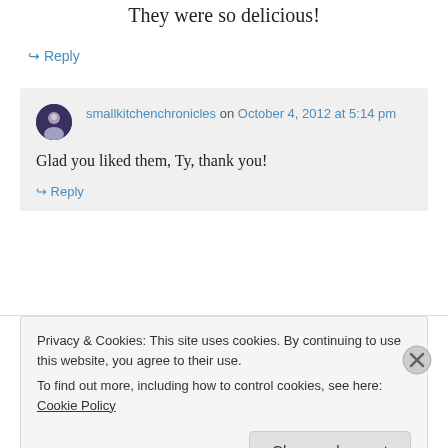They were so delicious!
↪ Reply
smallkitchenchronicles on October 4, 2012 at 5:14 pm
Glad you liked them, Ty, thank you!
↪ Reply
Privacy & Cookies: This site uses cookies. By continuing to use this website, you agree to their use. To find out more, including how to control cookies, see here: Cookie Policy
Close and accept